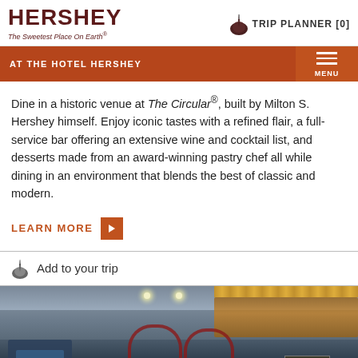[Figure (logo): Hershey logo with text 'HERSHEY' and tagline 'The Sweetest Place On Earth®']
[Figure (infographic): Trip Planner [0] icon with Hershey's Kiss silhouette]
AT THE HOTEL HERSHEY
Dine in a historic venue at The Circular®, built by Milton S. Hershey himself. Enjoy iconic tastes with a refined flair, a full-service bar offering an extensive wine and cocktail list, and desserts made from an award-winning pastry chef all while dining in an environment that blends the best of classic and modern.
LEARN MORE
Add to your trip
[Figure (photo): Interior of The Circular restaurant at Hotel Hershey showing diner-style seating, decorative arches, and illuminated ceiling strips]